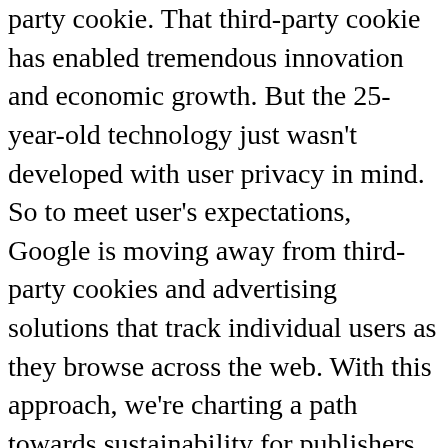party cookie. That third-party cookie has enabled tremendous innovation and economic growth. But the 25-year-old technology just wasn't developed with user privacy in mind. So to meet user's expectations, Google is moving away from third-party cookies and advertising solutions that track individual users as they browse across the web. With this approach, we're charting a path towards sustainability for publishers, for advertisers, and for users. Next question, what is the privacy sandbox, and how does it work? The privacy sandbox is an open-source technology suite that Google's been partnering with the web community on. It uses the browser to reinvent key web and advertising capabilities that are powered by third-party cookies today but in a much more privacy-friendly way for the future. And I get the cross-browser question a lot. These capabilities that we're talking about are proposed to work not only in Chrome but across all